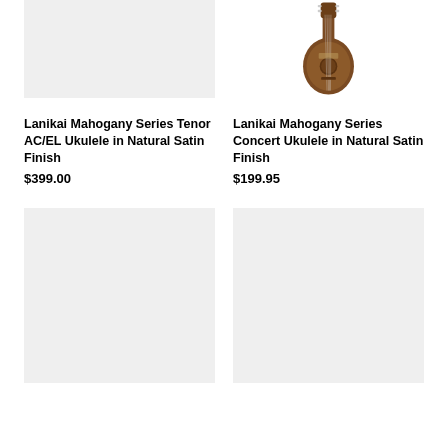[Figure (photo): Blank/empty product image placeholder with light gray background for Lanikai Mahogany Series Tenor AC/EL Ukulele]
[Figure (photo): Lanikai Mahogany Series Concert Ukulele shown in natural satin finish, brown mahogany body visible from front]
Lanikai Mahogany Series Tenor AC/EL Ukulele in Natural Satin Finish
$399.00
Lanikai Mahogany Series Concert Ukulele in Natural Satin Finish
$199.95
[Figure (photo): Blank/empty product image placeholder with light gray background]
[Figure (photo): Blank/empty product image placeholder with light gray background]